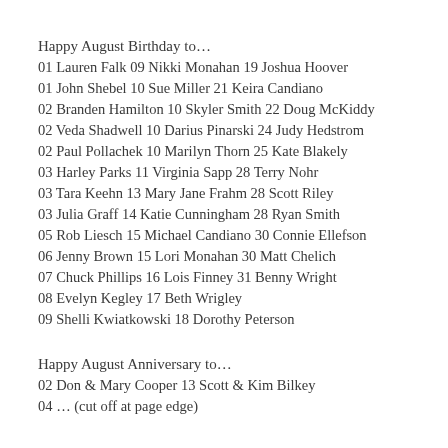Happy August Birthday to…
01 Lauren Falk 09 Nikki Monahan 19 Joshua Hoover
01 John Shebel 10 Sue Miller 21 Keira Candiano
02 Branden Hamilton 10 Skyler Smith 22 Doug McKiddy
02 Veda Shadwell 10 Darius Pinarski 24 Judy Hedstrom
02 Paul Pollachek 10 Marilyn Thorn 25 Kate Blakely
03 Harley Parks 11 Virginia Sapp 28 Terry Nohr
03 Tara Keehn 13 Mary Jane Frahm 28 Scott Riley
03 Julia Graff 14 Katie Cunningham 28 Ryan Smith
05 Rob Liesch 15 Michael Candiano 30 Connie Ellefson
06 Jenny Brown 15 Lori Monahan 30 Matt Chelich
07 Chuck Phillips 16 Lois Finney 31 Benny Wright
08 Evelyn Kegley 17 Beth Wrigley
09 Shelli Kwiatkowski 18 Dorothy Peterson
Happy August Anniversary to…
02 Don & Mary Cooper 13 Scott & Kim Bilkey
04 … (cut off)